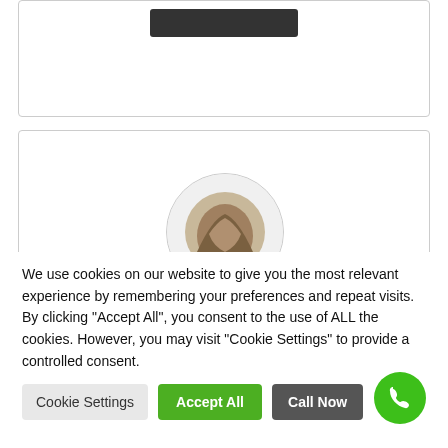[Figure (other): Top card partially visible with a dark rectangular bar at the top center]
[Figure (photo): Profile card with circular avatar photo (outdoor/nature scene with roots/hands) and business name below]
Carrie's Home Day Care
We use cookies on our website to give you the most relevant experience by remembering your preferences and repeat visits. By clicking "Accept All", you consent to the use of ALL the cookies. However, you may visit "Cookie Settings" to provide a controlled consent.
Cookie Settings | Accept All | Call Now